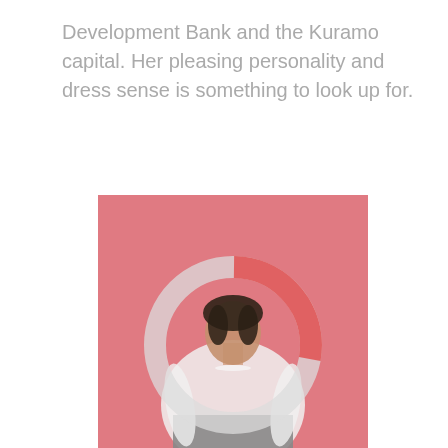Development Bank and the Kuramo capital. Her pleasing personality and dress sense is something to look up for.
[Figure (photo): A woman in a white blouse and dark skirt posing against a pink background, with a semi-transparent donut/ring chart overlay on the image. The ring has a red arc segment at the top and light gray for the rest.]